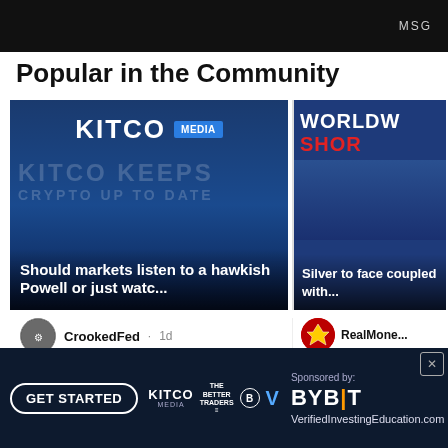[Figure (screenshot): Top banner with dark background showing MSG text/logo]
Popular in the Community
[Figure (screenshot): Kitco Media video thumbnail with overlay text: Should markets listen to a hawkish Powell or just watc...]
Should markets listen to a hawkish Powell or just watc...
[Figure (screenshot): Worldwide Shorts video thumbnail with overlay text: Silver to face coupled with...]
Silver to face coupled with...
CrookedFed · 1d
Is bad news still going to be go...
RealMone... Silver gurus Dav... r have ...mmer
[Figure (screenshot): Advertisement banner: GET STARTED, Kitco Media, The Better Traders, V logo, Sponsored by: BYBIT, VerifiedInvestingEducation.com]